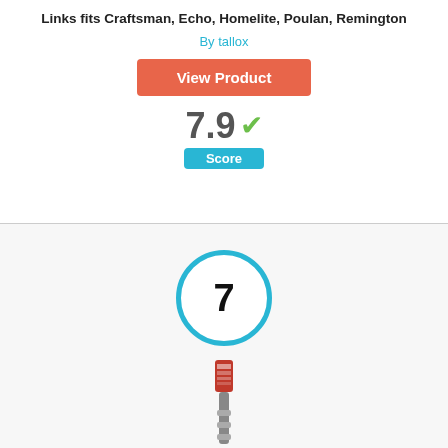Links fits Craftsman, Echo, Homelite, Poulan, Remington
By tallox
View Product
7.9 ✓
Score
[Figure (other): Circular badge with number 7 inside a thick blue ring]
[Figure (photo): Product image of a chain saw chain link product]